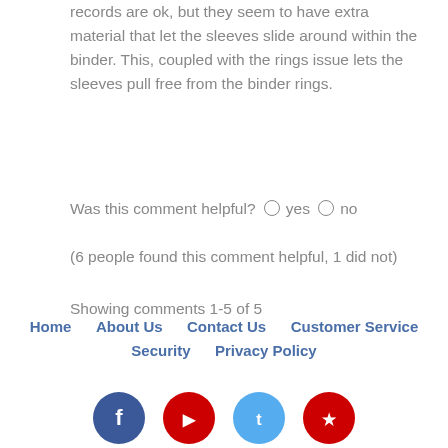records are ok, but they seem to have extra material that let the sleeves slide around within the binder. This, coupled with the rings issue lets the sleeves pull free from the binder rings.
Was this comment helpful? ○ yes ○ no
(6 people found this comment helpful, 1 did not)
Showing comments 1-5 of 5
Home   About Us   Contact Us   Customer Service   Security   Privacy Policy